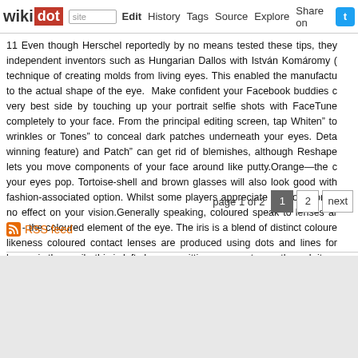wikidot | site | Edit | History | Tags | Source | Explore | Share on
11 Even though Herschel reportedly by no means tested these tips, they independent inventors such as Hungarian Dallos with István Komáromy ( technique of creating molds from living eyes. This enabled the manufactu to the actual shape of the eye.  Make confident your Facebook buddies c very best side by touching up your portrait selfie shots with FaceTune completely to your face. From the principal editing screen, tap Whiten" to wrinkles or Tones" to conceal dark patches underneath your eyes. Deta winning feature) and Patch" can get rid of blemishes, although Reshape lets you move components of your face around like putty.Orange—the c your eyes pop. Tortoise-shell and brown glasses will also look good with fashion-associated option. Whilst some players appreciate this look for its no effect on your vision.Generally speaking, coloured speak to lenses ar iris - the coloured element of the eye. The iris is a blend of distinct coloure likeness coloured contact lenses are produced using dots and lines for lenses is the pupil - this is left clear, permitting wearers to see through it. -
page 1 of 2   1   2   next
RSS feed
page revis
Edit   Tags   History
Powered by Wikidot.com
Unless otherwise stated, the content of this page is lice